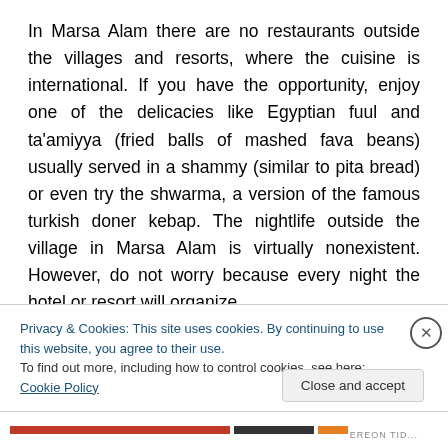In Marsa Alam there are no restaurants outside the villages and resorts, where the cuisine is international. If you have the opportunity, enjoy one of the delicacies like Egyptian fuul and ta'amiyya (fried balls of mashed fava beans) usually served in a shammy (similar to pita bread) or even try the shwarma, a version of the famous turkish doner kebap. The nightlife outside the village in Marsa Alam is virtually nonexistent. However, do not worry because every night the hotel or resort will organize
Privacy & Cookies: This site uses cookies. By continuing to use this website, you agree to their use.
To find out more, including how to control cookies, see here: Cookie Policy
Close and accept